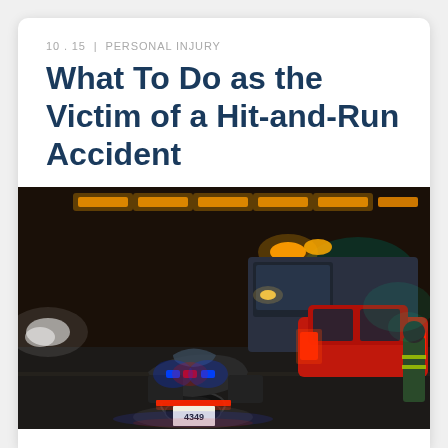10 . 15 | PERSONAL INJURY
What To Do as the Victim of a Hit-and-Run Accident
[Figure (photo): Night scene of a police motorcycle with blue and red lights, license plate 4349, stopped behind a red car being attended to by an officer in a reflective vest, with emergency vehicles and city lights in the background.]